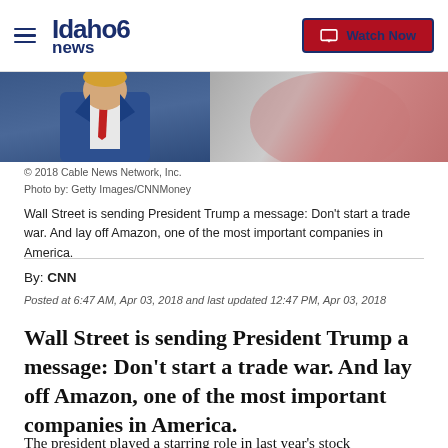Idaho News 6 | Watch Now
[Figure (photo): Photo strip showing a person in a blue suit with red tie on left side and a reddish/grey background on right side]
© 2018 Cable News Network, Inc.
Photo by: Getty Images/CNNMoney
Wall Street is sending President Trump a message: Don't start a trade war. And lay off Amazon, one of the most important companies in America.
By: CNN
Posted at 6:47 AM, Apr 03, 2018 and last updated 12:47 PM, Apr 03, 2018
Wall Street is sending President Trump a message: Don't start a trade war. And lay off Amazon, one of the most important companies in America.
The president played a starring role in last year's stock